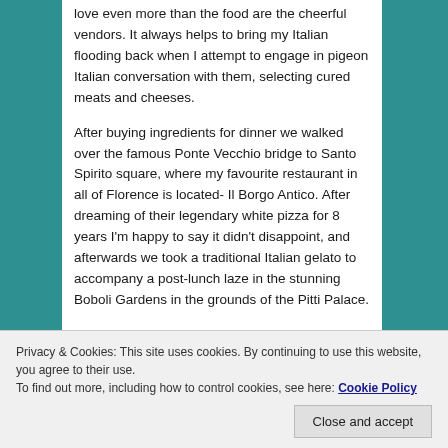love even more than the food are the cheerful vendors. It always helps to bring my Italian flooding back when I attempt to engage in pigeon Italian conversation with them, selecting cured meats and cheeses.
After buying ingredients for dinner we walked over the famous Ponte Vecchio bridge to Santo Spirito square, where my favourite restaurant in all of Florence is located- Il Borgo Antico. After dreaming of their legendary white pizza for 8 years I'm happy to say it didn't disappoint, and afterwards we took a traditional Italian gelato to accompany a post-lunch laze in the stunning Boboli Gardens in the grounds of the Pitti Palace.
In the evening we prepared a four course feast and dined
just a pleasure-it's a thrill.
Privacy & Cookies: This site uses cookies. By continuing to use this website, you agree to their use.
To find out more, including how to control cookies, see here: Cookie Policy